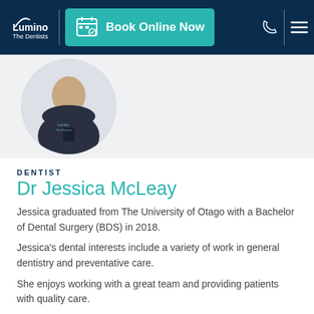Lumino The Dentists — Book Online Now
[Figure (photo): Profile photo of Dr Jessica McLeay in a dark Lumino uniform, shown in a circular crop]
DENTIST
Dr Jessica McLeay
Jessica graduated from The University of Otago with a Bachelor of Dental Surgery (BDS) in 2018.
Jessica's dental interests include a variety of work in general dentistry and preventative care.
She enjoys working with a great team and providing patients with quality care.
Outside of the practice, Jessica enjoys hiking, biking